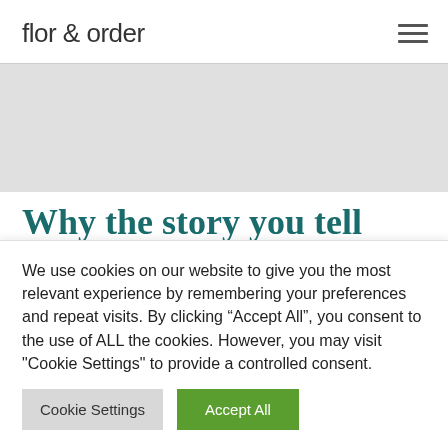flor & order
[Figure (screenshot): Gray placeholder hero image area]
Why the story you tell yourself about working best under
We use cookies on our website to give you the most relevant experience by remembering your preferences and repeat visits. By clicking “Accept All”, you consent to the use of ALL the cookies. However, you may visit "Cookie Settings" to provide a controlled consent.